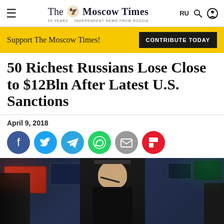The Moscow Times — 30 YEARS — INDEPENDENT NEWS FROM RUSSIA — RU
Support The Moscow Times!
CONTRIBUTE TODAY
50 Richest Russians Lose Close to $12Bln After Latest U.S. Sanctions
April 9, 2018
[Figure (other): Social sharing buttons: Facebook, Twitter, Telegram, WhatsApp, Email, Flipboard]
[Figure (photo): Photo of a trader on a stock exchange floor wearing a headset, surrounded by multiple trading screens showing market data]